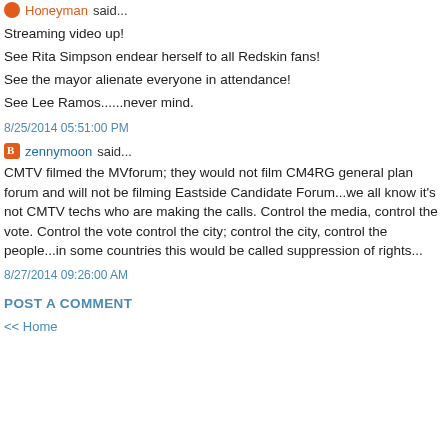Honeyman said...
Streaming video up!
See Rita Simpson endear herself to all Redskin fans!
See the mayor alienate everyone in attendance!
See Lee Ramos......never mind.
8/25/2014 05:51:00 PM
zennymoon said...
CMTV filmed the MVforum; they would not film CM4RG general plan forum and will not be filming Eastside Candidate Forum...we all know it's not CMTV techs who are making the calls. Control the media, control the vote. Control the vote control the city; control the city, control the people...in some countries this would be called suppression of rights...
8/27/2014 09:26:00 AM
POST A COMMENT
<< Home